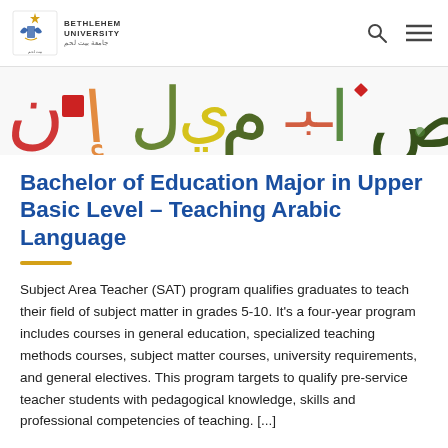Bethlehem University
[Figure (illustration): Colorful Arabic calligraphy letters banner in red, green, yellow, and olive colors on white background]
Bachelor of Education Major in Upper Basic Level – Teaching Arabic Language
Subject Area Teacher (SAT) program qualifies graduates to teach their field of subject matter in grades 5-10. It's a four-year program includes courses in general education, specialized teaching methods courses, subject matter courses, university requirements, and general electives. This program targets to qualify pre-service teacher students with pedagogical knowledge, skills and professional competencies of teaching. [...]